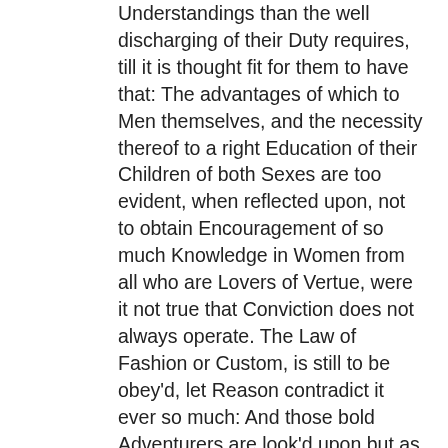Understandings than the well discharging of their Duty requires, till it is thought fit for them to have that: The advantages of which to Men themselves, and the necessity thereof to a right Education of their Children of both Sexes are too evident, when reflected upon, not to obtain Encouragement of so much Knowledge in Women from all who are Lovers of Vertue, were it not true that Conviction does not always operate. The Law of Fashion or Custom, is still to be obey'd, let Reason contradict it ever so much: And those bold Adventurers are look'd upon but as a sort of _Don Quixots_; whose Zeal for any Reformation puts them upon Combating generally receiv'd Opinions, or Practices; even tho' the Honour of their Maker be concern'd therein: Or (what is nearer to most) their own Private and Temporal Interests. I am sure that a just consideration of both these furnishes every one with very cogent inducements to make what opposition they can to Immorality, both by amending their own faults, and by indeavouring to reclaim others, at least to do what they can